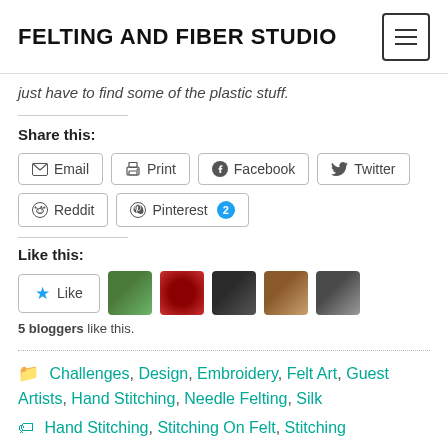FELTING AND FIBER STUDIO
just have to find some of the plastic stuff.
Share this:
Email  Print  Facebook  Twitter  Reddit  Pinterest 2
Like this:
Like  5 bloggers like this.
Challenges, Design, Embroidery, Felt Art, Guest Artists, Hand Stitching, Needle Felting, Silk
Hand Stitching, Stitching On Felt, Stitching With Beads